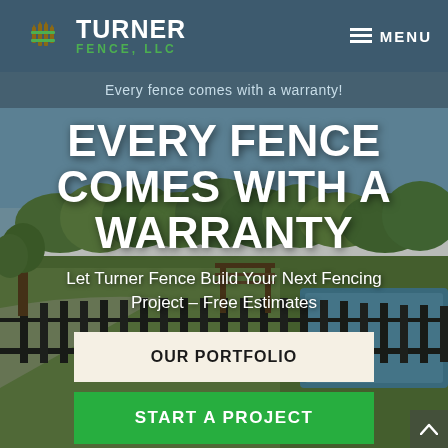[Figure (logo): Turner Fence LLC logo — crescent moon shape with fence silhouette in brown/green, company name in white and green text]
MENU
Every fence comes with a warranty!
EVERY FENCE COMES WITH A WARRANTY
Let Turner Fence Build Your Next Fencing Project – Free Estimates
OUR PORTFOLIO
START A PROJECT